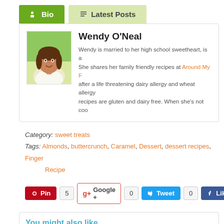Bio | Latest Posts
[Figure (photo): Profile photo of Wendy O'Neal, a smiling woman with brown hair]
Wendy O'Neal
Wendy is married to her high school sweetheart, is a She shares her family friendly recipes at Around My F after a life threatening dairy allergy and wheat allergy recipes are gluten and dairy free. When she's not coo
Category: sweet treats
Tags: Almonds, buttercrunch, Caramel, Dessert, dessert recipes, Finger Recipe
Pin 5  Google + 0  Tweet 0  Like 1
You might also like...
[Figure (photo): Three food photos shown side by side in 'You might also like' section]